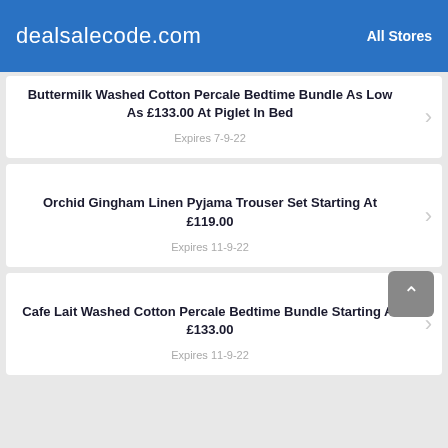dealsalecode.com  All Stores
Buttermilk Washed Cotton Percale Bedtime Bundle As Low As £133.00 At Piglet In Bed
Expires 7-9-22
Orchid Gingham Linen Pyjama Trouser Set Starting At £119.00
Expires 11-9-22
Cafe Lait Washed Cotton Percale Bedtime Bundle Starting At £133.00
Expires 11-9-22